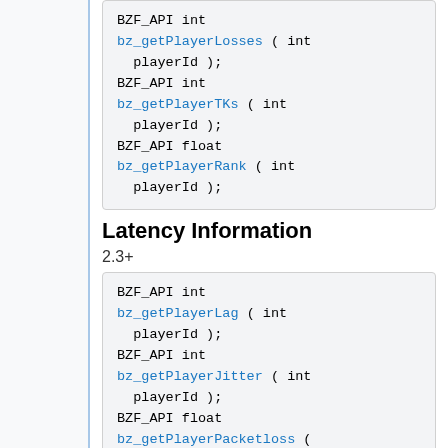BZF_API int bz_getPlayerLosses ( int playerId ); BZF_API int bz_getPlayerTKs ( int playerId ); BZF_API float bz_getPlayerRank ( int playerId );
Latency Information
2.3+
BZF_API int bz_getPlayerLag ( int playerId ); BZF_API int bz_getPlayerJitter ( int playerId ); BZF_API float bz_getPlayerPacketloss ( int playerId );